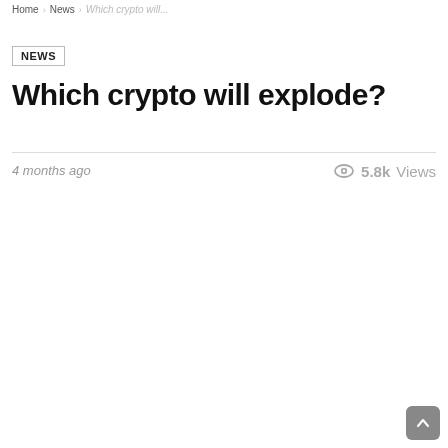Home › News › Which crypto will...
NEWS
Which crypto will explode?
4 months ago
5.8k Views